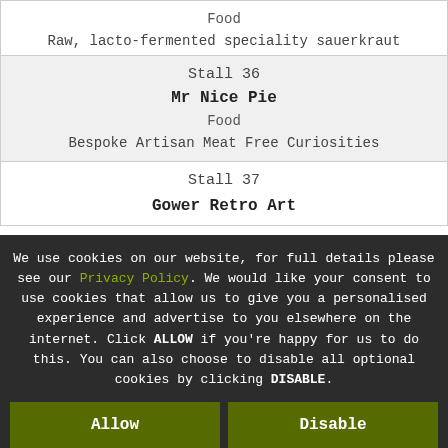| Stall | Vendor | Type | Description |
| --- | --- | --- | --- |
|  |  | Food | Raw, lacto-fermented speciality sauerkraut |
| Stall 36 | Mr Nice Pie | Food | Bespoke Artisan Meat Free Curiosities |
| Stall 37 | Gower Retro Art |  |  |
We use cookies on our website, for full details please see our Privacy Policy. We would like your consent to use cookies that allow us to give you a personalised experience and advertise to you elsewhere on the internet. Click ALLOW if you're happy for us to do this. You can also choose to disable all optional cookies by clicking DISABLE.